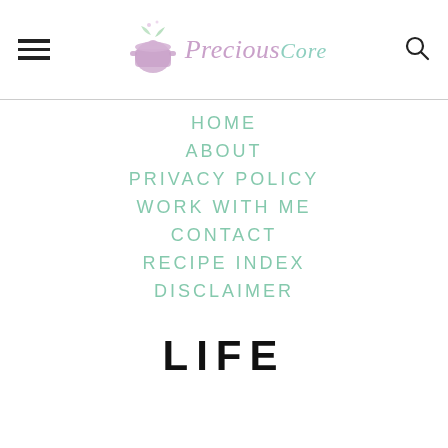Precious Core — site header with hamburger menu, logo, and search icon
HOME
ABOUT
PRIVACY POLICY
WORK WITH ME
CONTACT
RECIPE INDEX
DISCLAIMER
LIFE